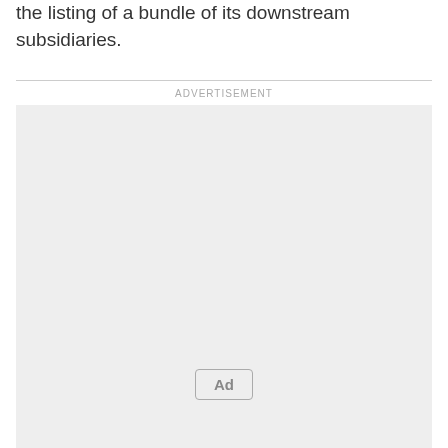the listing of a bundle of its downstream subsidiaries.
[Figure (other): Advertisement placeholder box with 'ADVERTISEMENT' label above and 'Ad' button centered near bottom]